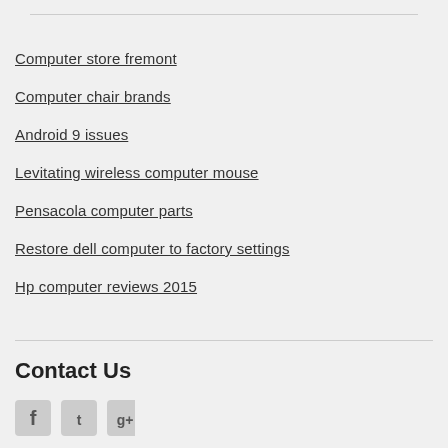Computer store fremont
Computer chair brands
Android 9 issues
Levitating wireless computer mouse
Pensacola computer parts
Restore dell computer to factory settings
Hp computer reviews 2015
Contact Us
[Figure (illustration): Social media icons: Facebook, Twitter, Google+]